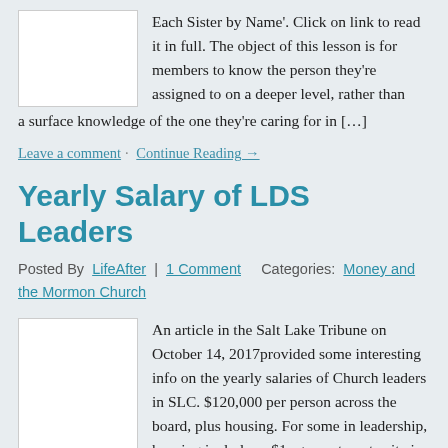Each Sister by Name'. Click on link to read it in full. The object of this lesson is for members to know the person they're assigned to on a deeper level, rather than a surface knowledge of the one they're caring for in […]
Leave a comment · Continue Reading →
Yearly Salary of LDS Leaders
Posted By LifeAfter | 1 Comment   Categories: Money and the Mormon Church
An article in the Salt Lake Tribune on October 14, 2017provided some interesting info on the yearly salaries of Church leaders in SLC. $120,000 per person across the board, plus housing. For some in leadership, housing includes a $1m+ apartment suite in downtown SLC, and others are stipend accordingly. The shocking thing about this is who […]